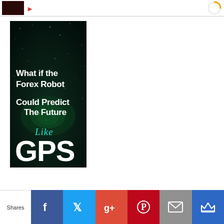[Figure (illustration): Dark space-themed advertisement image with white bold text reading 'What if the Forex Robot Could Predict The Future Like GPS']
Shares | Facebook | Twitter | Google+ | Pinterest | Email | Muck Rack